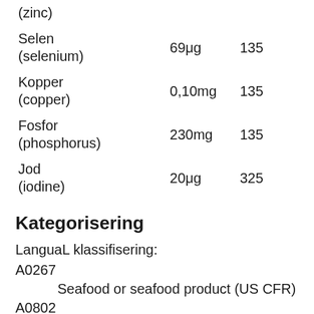|  |  |  |
| --- | --- | --- |
| (zinc) |  |  |
| Selen
(selenium) | 69μg | 135 |
| Kopper
(copper) | 0,10mg | 135 |
| Fosfor
(phosphorus) | 230mg | 135 |
| Jod
(iodine) | 20μg | 325 |
Kategorisering
LanguaL klassifisering:
A0267
Seafood or seafood product (US CFR)
A0802
Fish or related organism (EUROFIR)
B1790